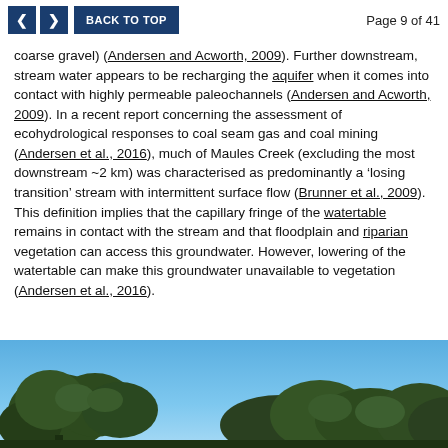< > BACK TO TOP   Page 9 of 41
coarse gravel) (Andersen and Acworth, 2009). Further downstream, stream water appears to be recharging the aquifer when it comes into contact with highly permeable paleochannels (Andersen and Acworth, 2009). In a recent report concerning the assessment of ecohydrological responses to coal seam gas and coal mining (Andersen et al., 2016), much of Maules Creek (excluding the most downstream ~2 km) was characterised as predominantly a ‘losing transition’ stream with intermittent surface flow (Brunner et al., 2009). This definition implies that the capillary fringe of the watertable remains in contact with the stream and that floodplain and riparian vegetation can access this groundwater. However, lowering of the watertable can make this groundwater unavailable to vegetation (Andersen et al., 2016).
[Figure (photo): Outdoor photograph showing tree canopy silhouettes against a blue sky, likely depicting riparian or floodplain vegetation near Maules Creek.]